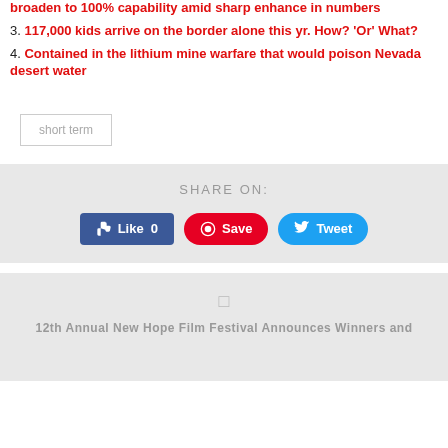broaden to 100% capability amid sharp enhance in numbers
3. 117,000 kids arrive on the border alone this yr. How? 'Or' What?
4. Contained in the lithium mine warfare that would poison Nevada desert water
short term
SHARE ON:
[Figure (other): Social sharing buttons: Facebook Like 0, Pinterest Save, Twitter Tweet]
[Figure (other): Next article preview section with icon and title: 12th Annual New Hope Film Festival Announces Winners and]